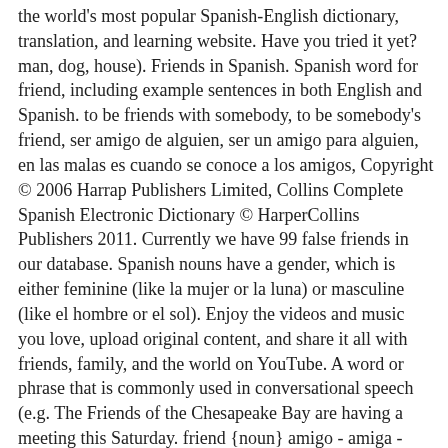the world's most popular Spanish-English dictionary, translation, and learning website. Have you tried it yet? man, dog, house). Friends in Spanish. Spanish word for friend, including example sentences in both English and Spanish. to be friends with somebody, to be somebody's friend, ser amigo de alguien, ser un amigo para alguien, en las malas es cuando se conoce a los amigos, Copyright © 2006 Harrap Publishers Limited, Collins Complete Spanish Electronic Dictionary © HarperCollins Publishers 2011. Currently we have 99 false friends in our database. Spanish nouns have a gender, which is either feminine (like la mujer or la luna) or masculine (like el hombre or el sol). Enjoy the videos and music you love, upload original content, and share it all with friends, family, and the world on YouTube. A word or phrase that is commonly used in conversational speech (e.g. The Friends of the Chesapeake Bay are having a meeting this Saturday. friend {noun} amigo - amiga - amistad - compadre - amiguita - compa - comadre. The very few episodes I saw in Spanish … Spanish nouns have a gender, which is either feminine … Make sure you choose carefully. to be friends with somebody, to be somebody's friend, ser amigo de alguien, ser un amigo para alguien, en las malas es cuando se conoce a los amigos, Copyright © 2006 Harrap Publishers Limited, Collins Complete Spanish Electronic Dictionary © HarperCollins Publishers 2011. posted by amf at 9:28 AM on December 14, 2008 Learn Basic Spanish Physical Descriptors. Amigo en la adversidad, es amigo de verdad. Learn to